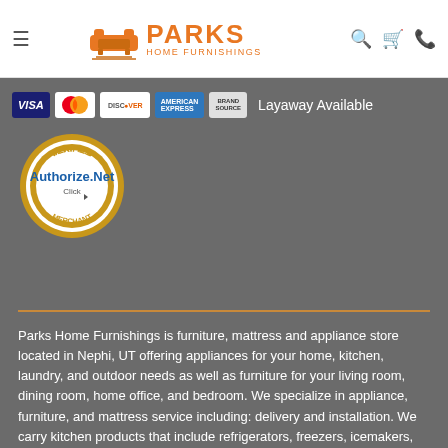[Figure (logo): Parks Home Furnishings logo with orange sofa icon and orange text]
[Figure (logo): Payment method logos: Visa, MasterCard, Discover, American Express, Brand Source, plus Layaway Available text]
[Figure (logo): Authorize.Net Verified Merchant seal/badge]
Parks Home Furnishings is furniture, mattress and appliance store located in Nephi, UT offering appliances for your home, kitchen, laundry, and outdoor needs as well as furniture for your living room, dining room, home office, and bedroom. We specialize in appliance, furniture, and mattress service including: delivery and installation. We carry kitchen products that include refrigerators, freezers, icemakers, cooktops, stoves, wall ovens, ranges, microwaves, hoods, dishwashers and disposals. We also stock laundry products that range from front